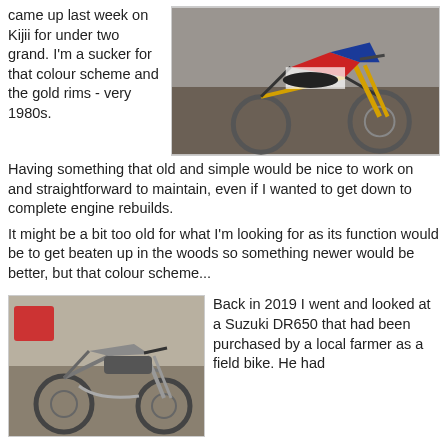came up last week on Kijii for under two grand.  I'm a sucker for that colour scheme and the gold rims - very 1980s.
[Figure (photo): Dirt bike with red/blue/white colour scheme and gold rims, parked in a garage or shed]
Having something that old and simple would be nice to work on and straightforward to maintain, even if I wanted to get down to complete engine rebuilds.
It might be a bit too old for what I'm looking for as its function would be to get beaten up in the woods so something newer would be better, but that colour scheme...
[Figure (photo): Suzuki DR650 dirt bike parked in a garage, dusty/used condition]
Back in 2019 I went and looked at a Suzuki DR650 that had been purchased by a local farmer as a field bike.  He had